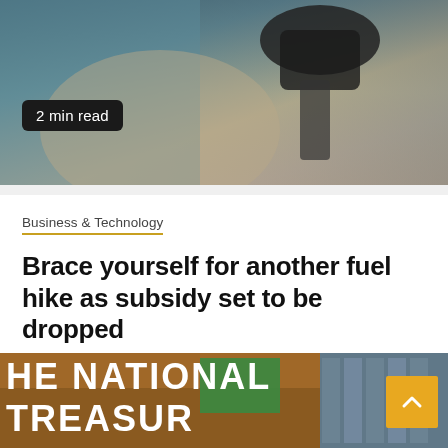[Figure (photo): Close-up photo of a fuel pump nozzle with teal and beige tones]
2 min read
Business & Technology
Brace yourself for another fuel hike as subsidy set to be dropped
1 month ago  Live Now
Kenyans should brace themselves for tougher economic times after the International Monetary Fund (IMF) dropped support of the current fuel...
[Figure (photo): Photo of the National Treasury building sign reading HE NATIONAL TREASUR]